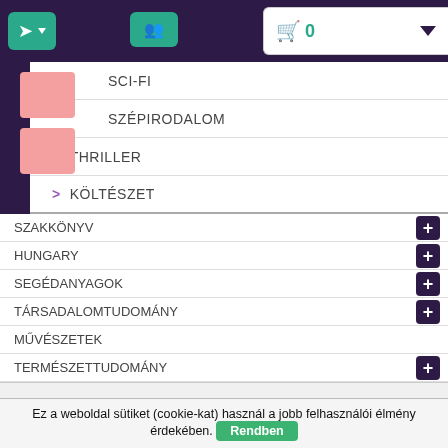[Figure (screenshot): Website navigation bar with login button, group icon, and shopping cart showing 0 items]
SCI-FI
SZÉPIRODALOM
> THRILLER
> KÖLTÉSZET
SZAKKÖNYV
HUNGARY
SEGÉDANYAGOK
TÁRSADALOMTUDOMÁNY
MŰVÉSZETEK
TERMÉSZETTUDOMÁNY
HÍRLEVÉL
Ez a weboldal sütiket (cookie-kat) használ a jobb felhasználói élmény érdekében. Rendben